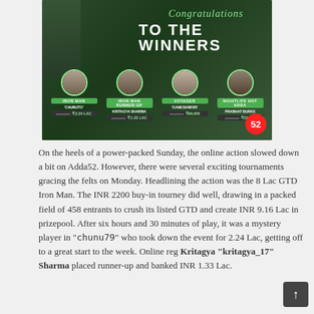[Figure (infographic): Dark green banner image reading 'Congratulations TO THE WINNERS' with four winner cards showing: Iron Man - 'chunuto' ₹2.24 LAC; Iron Man Runner-up - Kritagya Sharma ₹1.33 LAC; Voyager - 'Ganeshwori' ₹89,000; Nightlife Hot Adda - Prabhat Burks ₹32,759. Badge showing number 52 in bottom right.]
On the heels of a power-packed Sunday, the online action slowed down a bit on Adda52. However, there were several exciting tournaments gracing the felts on Monday. Headlining the action was the 8 Lac GTD Iron Man. The INR 2200 buy-in tourney did well, drawing in a packed field of 458 entrants to crush its listed GTD and create INR 9.16 Lac in prizepool. After six hours and 30 minutes of play, it was a mystery player in "chunu79" who took down the event for 2.24 Lac, getting off to a great start to the week. Online reg Kritagya "kritagya_17" Sharma placed runner-up and banked INR 1.33 Lac.